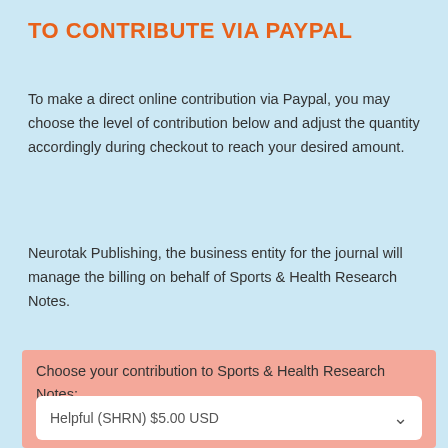TO CONTRIBUTE VIA PAYPAL
To make a direct online contribution via Paypal, you may choose the level of contribution below and adjust the quantity accordingly during checkout to reach your desired amount.
Neurotak Publishing, the business entity for the journal will manage the billing on behalf of Sports & Health Research Notes.
Choose your contribution to Sports & Health Research Notes:
Helpful (SHRN) $5.00 USD